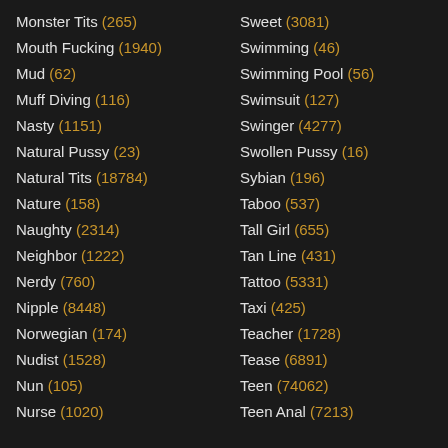Monster Tits (265)
Mouth Fucking (1940)
Mud (62)
Muff Diving (116)
Nasty (1151)
Natural Pussy (23)
Natural Tits (18784)
Nature (158)
Naughty (2314)
Neighbor (1222)
Nerdy (760)
Nipple (8448)
Norwegian (174)
Nudist (1528)
Nun (105)
Nurse (1020)
Sweet (3081)
Swimming (46)
Swimming Pool (56)
Swimsuit (127)
Swinger (4277)
Swollen Pussy (16)
Sybian (196)
Taboo (537)
Tall Girl (655)
Tan Line (431)
Tattoo (5331)
Taxi (425)
Teacher (1728)
Tease (6891)
Teen (74062)
Teen Anal (7213)